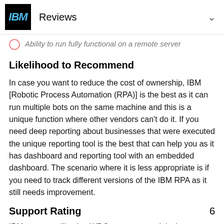Reviews
Ability to run fully functional on a remote server
Likelihood to Recommend
In case you want to reduce the cost of ownership, IBM [Robotic Process Automation (RPA)] is the best as it can run multiple bots on the same machine and this is a unique function where other vendors can't do it. If you need deep reporting about businesses that were executed the unique reporting tool is the best that can help you as it has dashboard and reporting tool with an embedded dashboard. The scenario where it is less appropriate is if you need to track different versions of the IBM RPA as it still needs improvement.
Support Rating
IBM support still using WDG resources as it is the company